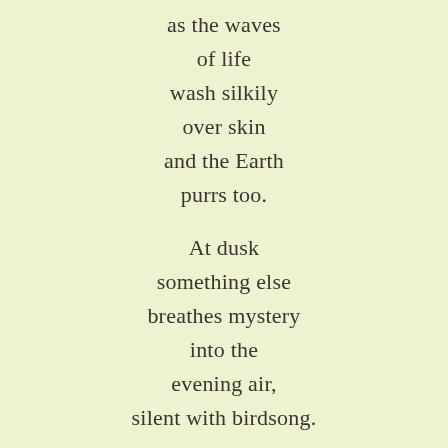as the waves
of life
wash silkily
over skin
and the Earth
purrs too.

At dusk
something else
breathes mystery
into the
evening air,
silent with birdsong.

Night brings stars
and distances
in the closeness
of darkness